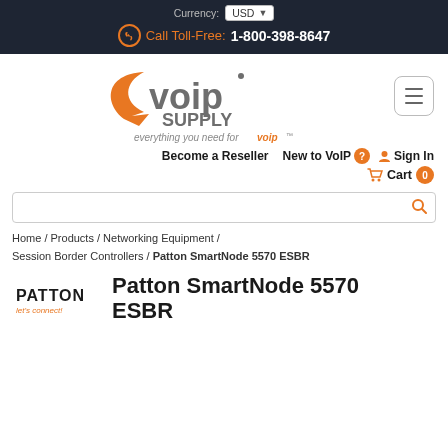Currency: USD | Call Toll-Free: 1-800-398-8647
[Figure (logo): VoIP Supply logo with tagline 'everything you need for voip']
Become a Reseller   New to VoIP   Sign In   Cart 0
Home / Products / Networking Equipment / Session Border Controllers / Patton SmartNode 5570 ESBR
Patton SmartNode 5570 ESBR